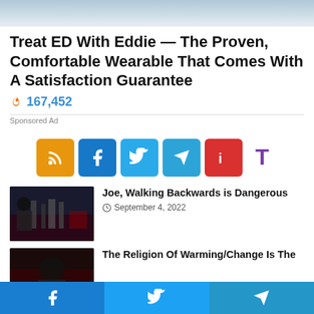[Figure (photo): Top banner image with light blue/grey gradient sky]
Treat ED With Eddie — The Proven, Comfortable Wearable That Comes With A Satisfaction Guarantee
🔥 167,452
Sponsored Ad
[Figure (infographic): Social sharing buttons row: RSS (orange), Facebook (blue), Twitter (light blue), Telegram (teal), Feed (red), Typlog (purple T)]
[Figure (photo): Article thumbnail: dark stage scene with red lighting and figures]
Joe, Walking Backwards is Dangerous
⏱ September 4, 2022
[Figure (photo): Article thumbnail: dark scene with red tones]
The Religion Of Warming/Change Is The
[Figure (infographic): Bottom bar with Facebook, Twitter, Telegram share buttons]